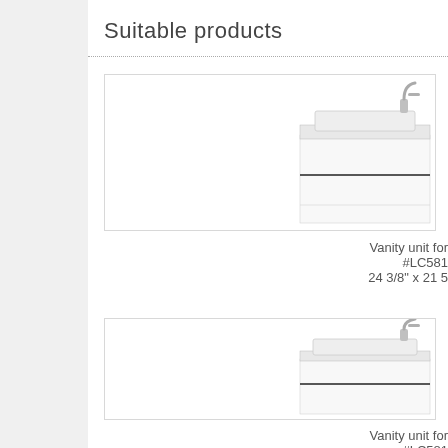Suitable products
[Figure (photo): White vanity unit with sink and chrome faucet, wall-mounted with two drawers]
Vanity unit for
#LC581
24 3/8" x 21 5
[Figure (photo): White vanity unit with sink and chrome faucet, wall-mounted, wider model]
Vanity unit for
#LC581
28 3/8" x 21 5